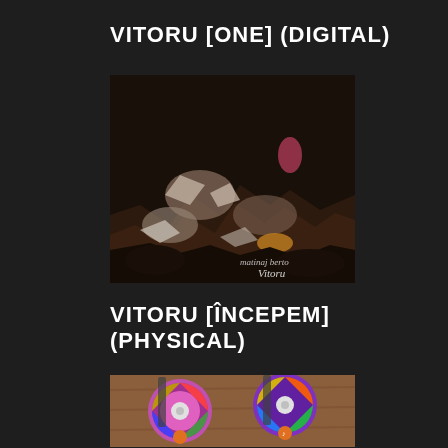VITORU [ONE] (DIGITAL)
[Figure (photo): Album cover art showing abstract dark rocks and debris with a handwritten signature at the bottom right]
VITORU [ÎNCEPEM] (PHYSICAL)
[Figure (photo): Physical album product showing multiple colorful vinyl-style CDs/discs arranged on a wooden surface]